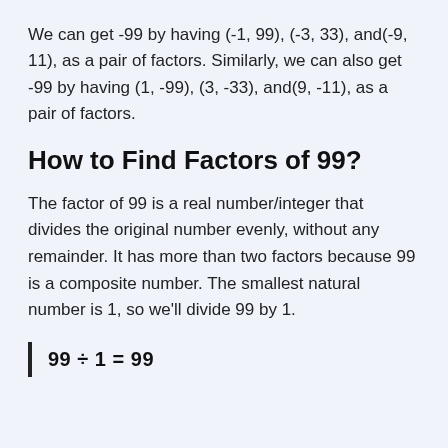We can get -99 by having (-1, 99), (-3, 33), and(-9, 11), as a pair of factors. Similarly, we can also get -99 by having (1, -99), (3, -33), and(9, -11), as a pair of factors.
How to Find Factors of 99?
The factor of 99 is a real number/integer that divides the original number evenly, without any remainder. It has more than two factors because 99 is a composite number. The smallest natural number is 1, so we'll divide 99 by 1.